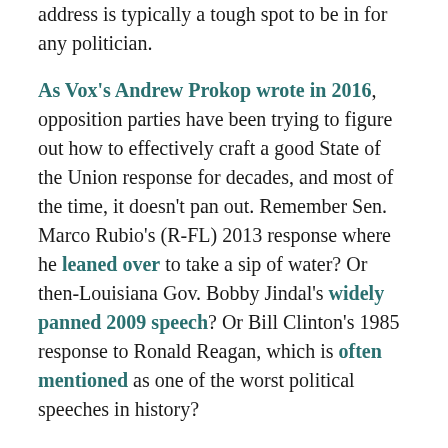address is typically a tough spot to be in for any politician.
As Vox's Andrew Prokop wrote in 2016, opposition parties have been trying to figure out how to effectively craft a good State of the Union response for decades, and most of the time, it doesn't pan out. Remember Sen. Marco Rubio's (R-FL) 2013 response where he leaned over to take a sip of water? Or then-Louisiana Gov. Bobby Jindal's widely panned 2009 speech? Or Bill Clinton's 1985 response to Ronald Reagan, which is often mentioned as one of the worst political speeches in history?